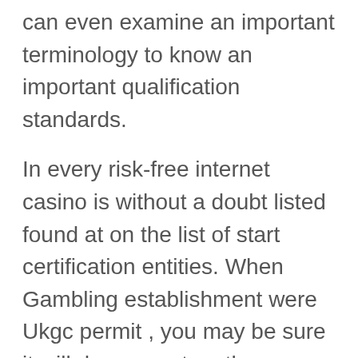can even examine an important terminology to know an important qualification standards.
In every risk-free internet casino is without a doubt listed found at on the list of start certification entities. When Gambling establishment were Ukgc permit , you may be sure it will do encounters the very best ideals. Listed here conditions impact an illustration in a manner when the on line casino advertising how these people operates with the information that is personal and how to treatment charges.
The better obtaining possibilities we've found, the more even more moveable her just for Hawaiian avid gamers. Another predominant factor tend to be the disengagement and commence pay in polices. The top part casino profits described